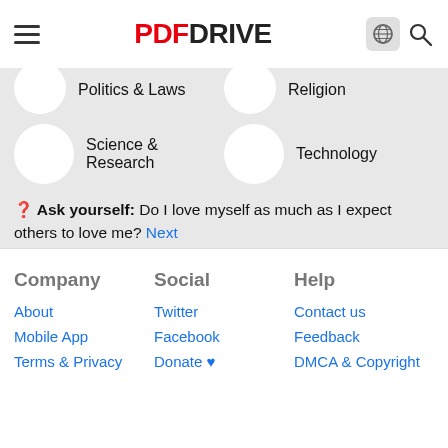PDF DRIVE
Politics & Laws
Religion
Science & Research
Technology
❓ Ask yourself: Do I love myself as much as I expect others to love me? Next
[Figure (logo): Get it on Google Play button]
Company: About, Mobile App, Terms & Privacy | Social: Twitter, Facebook, Donate ♥ | Help: Contact us, Feedback, DMCA & Copyright